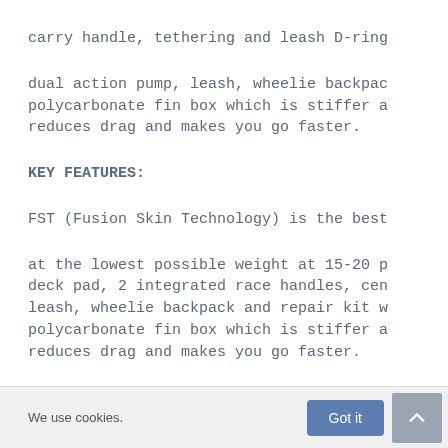carry handle, tethering and leash D-ring
dual action pump, leash, wheelie backpac polycarbonate fin box which is stiffer a reduces drag and makes you go faster.
KEY FEATURES:
FST (Fusion Skin Technology) is the best
at the lowest possible weight at 15-20 p deck pad, 2 integrated race handles, cen leash, wheelie backpack and repair kit w polycarbonate fin box which is stiffer a reduces drag and makes you go faster.
We use cookies.
Got it